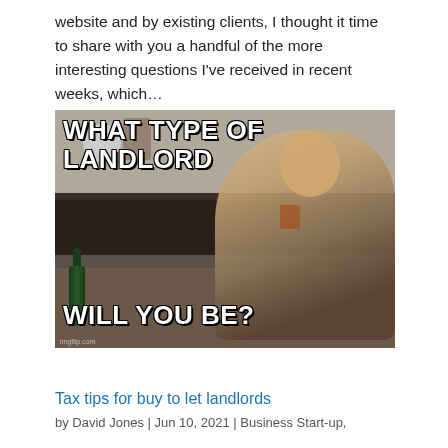website and by existing clients, I thought it time to share with you a handful of the more interesting questions I've received in recent weeks, which…
[Figure (photo): Meme image with a man sitting holding a glass in a cluttered room, with bold white Impact-font text reading 'WHAT TYPE OF LANDLORD' at the top and 'WILL YOU BE?' at the bottom. Watermark: imgflip.com]
Tax tips for buy to let landlords
by David Jones | Jun 10, 2021 | Business Start-up,